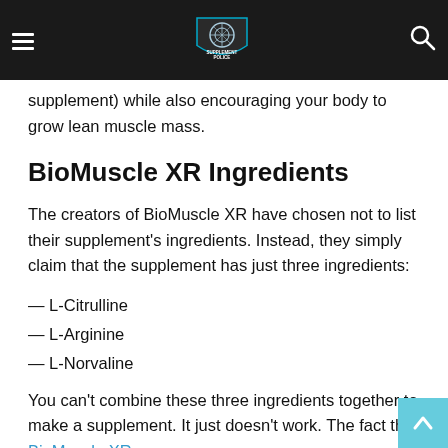Supplement Police [logo] [menu] [search]
supplement) while also encouraging your body to grow lean muscle mass.
BioMuscle XR Ingredients
The creators of BioMuscle XR have chosen not to list their supplement's ingredients. Instead, they simply claim that the supplement has just three ingredients:
— L-Citrulline
— L-Arginine
— L-Norvaline
You can't combine these three ingredients together to make a supplement. It just doesn't work. The fact that BioMuscle XR